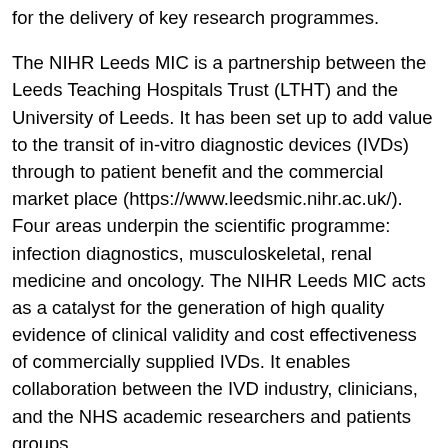for the delivery of key research programmes.
The NIHR Leeds MIC is a partnership between the Leeds Teaching Hospitals Trust (LTHT) and the University of Leeds. It has been set up to add value to the transit of in-vitro diagnostic devices (IVDs) through to patient benefit and the commercial market place (https://www.leedsmic.nihr.ac.uk/). Four areas underpin the scientific programme: infection diagnostics, musculoskeletal, renal medicine and oncology. The NIHR Leeds MIC acts as a catalyst for the generation of high quality evidence of clinical validity and cost effectiveness of commercially supplied IVDs. It enables collaboration between the IVD industry, clinicians, and the NHS academic researchers and patients groups.
You will provide project support across a portfolio of IVD research programmes and projects. Your role will be varied with the opportunity to get